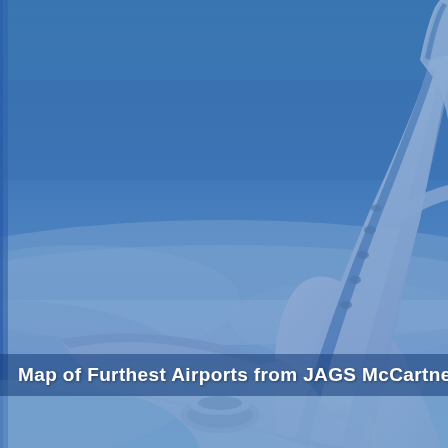[Figure (photo): Aerial photograph of a commercial passenger aircraft flying above clouds against a blue sky, viewed from above and slightly to the side. The plane is shown from the front-right angle with its cockpit, wings, engine, and tail visible. The image has a blue tint/overlay. A thin vertical blue stripe is visible on the left edge.]
Map of Furthest Airports from JAGS McCartney Interna